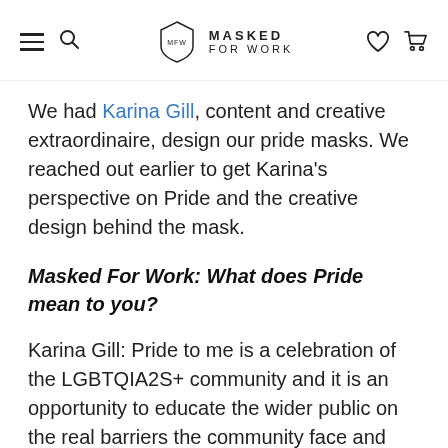MASKED FOR WORK
We had Karina Gill, content and creative extraordinaire, design our pride masks. We reached out earlier to get Karina's perspective on Pride and the creative design behind the mask.
Masked For Work: What does Pride mean to you?
Karina Gill: Pride to me is a celebration of the LGBTQIA2S+ community and it is an opportunity to educate the wider public on the real barriers the community face and how to be an ally and better support the